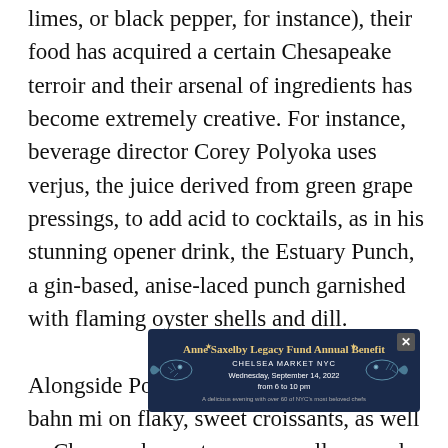limes, or black pepper, for instance), their food has acquired a certain Chesapeake terroir and their arsenal of ingredients has become extremely creative. For instance, beverage director Corey Polyoka uses verjus, the juice derived from green grape pressings, to add acid to cocktails, as in his stunning opener drink, the Estuary Punch, a gin-based, anise-laced punch garnished with flaming oyster shells and dill.

Alongside Polyoka's punch were scrapple bahn mi on flaky, sweet croissants, as well as Chesapeake oysters, raw scallops, and raw cheeseburgers with tomato jam—a cross between a rare burger and a steak tartare. One guest recalled a preference he'd once heard a precocious chef express: “I like my steak so rare that a good vet could still save it.” It’s the shaping… still
[Figure (other): Advertisement banner for Anne Saxelby Legacy Fund Annual Benefit at Chelsea Market NYC, Wednesday September 14 2022, from 6 to 10 pm. Dark navy background with gold and white text, decorative fish/seafood illustrations on sides, with a close button (X) in the top right.]